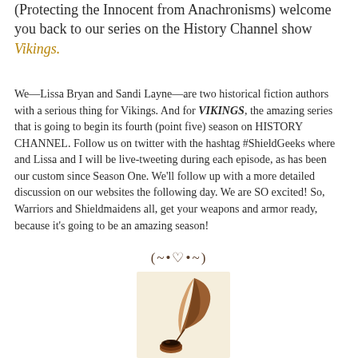(Protecting the Innocent from Anachronisms) welcome you back to our series on the History Channel show Vikings.
We—Lissa Bryan and Sandi Layne—are two historical fiction authors with a serious thing for Vikings. And for VIKINGS, the amazing series that is going to begin its fourth (point five) season on HISTORY CHANNEL. Follow us on twitter with the hashtag #ShieldGeeks where and Lissa and I will be live-tweeting during each episode, as has been our custom since Season One. We'll follow up with a more detailed discussion on our websites the following day. We are SO excited! So, Warriors and Shieldmaidens all, get your weapons and armor ready, because it's going to be an amazing season!
[Figure (illustration): A decorative heart divider symbol: (~•♡•~)]
[Figure (illustration): An illustration of a brown quill pen dipped in an inkwell, on a cream/beige background]